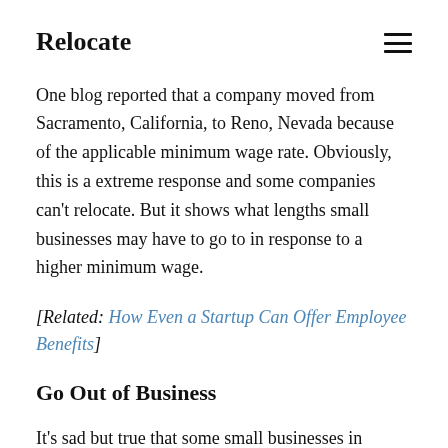Relocate
One blog reported that a company moved from Sacramento, California, to Reno, Nevada because of the applicable minimum wage rate. Obviously, this is a extreme response and some companies can't relocate. But it shows what lengths small businesses may have to go to in response to a higher minimum wage.
[Related: How Even a Startup Can Offer Employee Benefits]
Go Out of Business
It's sad but true that some small businesses in locations where the minimum wage rate has increased significantly can no longer stay in business. It's been reported that there's